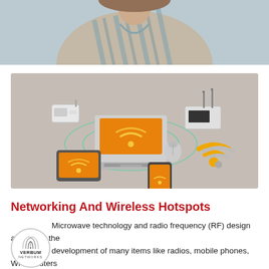[Figure (photo): Top partial photo of a person wearing a striped blouse, cropped at torso/shoulder level, muted blue-gray tones]
[Figure (illustration): Isometric illustration of wireless networking devices: a laptop with orange Wi-Fi screen, a wireless router with antennas, a tablet, a smartphone, a small white access point box, a mouse, and large orange and gray Wi-Fi signal icons, all on a gray background with green concentric signal rings around the laptop]
Networking And Wireless Hotspots
[Figure (logo): Verbum Networks logo: circular badge with signal arc lines above text VERBUM NETWORKS]
Microwave technology and radio frequency (RF) design are key to the development of many items like radios, mobile phones, Wi-Fi routers and many other radio based device. At Verbum Networks, we plan